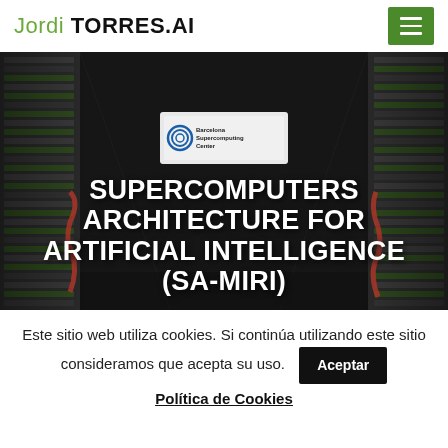Jordi TORRES.AI
[Figure (photo): Supercomputer server racks in a data center, with a Barcelona Supercomputing Center sign visible, dimly lit corridor of green-lit hardware.]
SUPERCOMPUTERS ARCHITECTURE FOR ARTIFICIAL INTELLIGENCE (SA-MIRI)
Este sitio web utiliza cookies. Si continúa utilizando este sitio consideramos que acepta su uso.
Aceptar
Política de Cookies